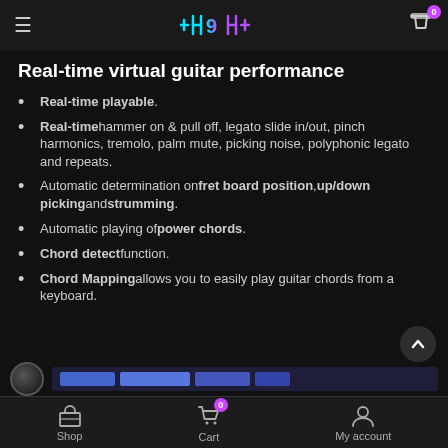≡  +H9H+  🛒0
Real-time virtual guitar performance
Real-time playable.
Real-time hammer on & pull off, legato slide in/out, pinch harmonics, tremolo, palm mute, picking noise, polyphonic legato and repeats.
Automatic determination on fret board position, up/down picking and strumming.
Automatic playing of power chords.
Chord detect function.
Chord Mapping allows you to easily play guitar chords from a keyboard.
[Figure (screenshot): Partial screenshot of a waveform/audio player UI strip at the bottom of the content area]
Shop  Cart (0)  My account